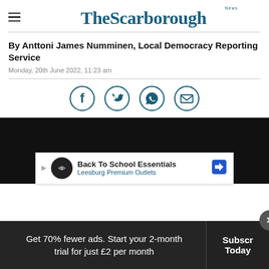The Scarborough News
By Anttoni James Numminen, Local Democracy Reporting Service
Monday, 20th June 2022, 11:23 am
[Figure (infographic): Social sharing icons: Facebook, Twitter, WhatsApp, Email — all in teal/dark blue circle outlines]
[Figure (screenshot): Dark video player area with an ad overlay: 'Back To School Essentials / Leesburg Premium Outlets']
Get 70% fewer ads. Start your 2-month trial for just £2 per month
Subscribe Today